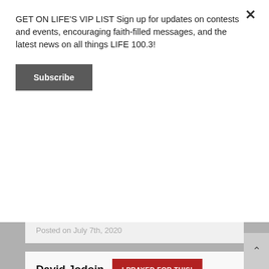GET ON LIFE'S VIP LIST Sign up for updates on contests and events, encouraging faith-filled messages, and the latest news on all things LIFE 100.3!
Subscribe
Pray for rain for the farmers and also that God will stop Covid-19.
Prayed for 10 times.
Posted on July 7th, 2020
David Jodoin
I PRAYED FOR THIS!
Addiction, mental health.
Prayed for 13 times.
Posted on July 6th, 2020